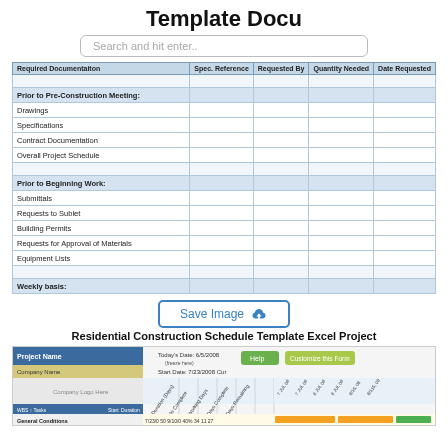Template Docu
Search and hit enter..
| Required Documentation | Spec. Reference | Requested By | Quantity Needed | Date Requested |
| --- | --- | --- | --- | --- |
| Prior to Pre-Construction Meeting: |  |  |  |  |
| Drawings |  |  |  |  |
| Specifications |  |  |  |  |
| Contract Documentation |  |  |  |  |
| Overall Project Schedule |  |  |  |  |
|  |  |  |  |  |
| Prior to Beginning Work: |  |  |  |  |
| Submittals |  |  |  |  |
| Requests to Sublet |  |  |  |  |
| Building Permits |  |  |  |  |
| Requests for Approval of Materials |  |  |  |  |
| Equipment Lists |  |  |  |  |
|  |  |  |  |  |
| Weekly basis: |  |  |  |  |
Save Image
Residential Construction Schedule Template Excel Project
[Figure (screenshot): Gantt chart project schedule template showing Project Name, Company Name, Company Logo Here fields, with columns for WBS, Tasks, Start, Duration, End, % Complete, Working Days, Days Complete, Days Remaining, and weekly date columns. Rows show General Conditions tasks with colored Gantt bars.]